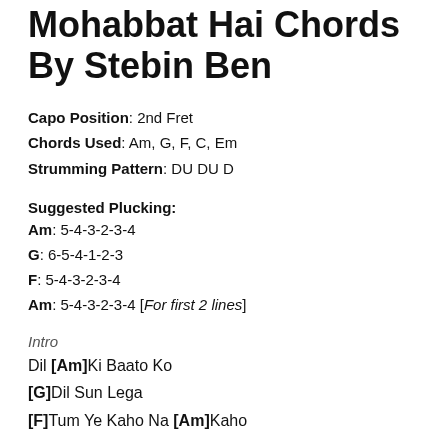Mohabbat Hai Chords By Stebin Ben
Capo Position: 2nd Fret
Chords Used: Am, G, F, C, Em
Strumming Pattern: DU DU D
Suggested Plucking:
Am: 5-4-3-2-3-4
G: 6-5-4-1-2-3
F: 5-4-3-2-3-4
Am: 5-4-3-2-3-4 [For first 2 lines]
Intro
Dil [Am]Ki Baato Ko
[G]Dil Sun Lega
[F]Tum Ye Kaho Na [Am]Kaho